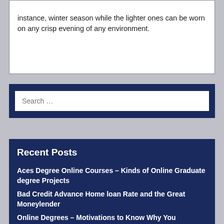instance, winter season while the lighter ones can be worn on any crisp evening of any environment.
Search …
Recent Posts
Aces Degree Online Courses – Kinds of Online Graduate degree Projects
Bad Credit Advance Home loan Rate and the Great Moneylender
Online Degrees – Motivations to Know Why You